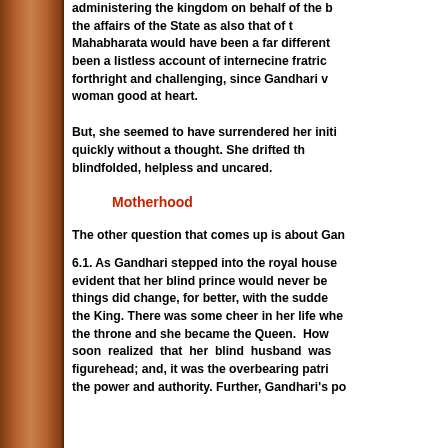administering the kingdom on behalf of the b the affairs of the State as also that of t Mahabharata would have been a far different been a listless account of internecine fratric forthright and challenging, since Gandhari v woman good at heart.
But, she seemed to have surrendered her initi quickly without a thought. She drifted th blindfolded, helpless and uncared.
Motherhood
The other question that comes up is about Gan
6.1. As Gandhari stepped into the royal house evident that her blind prince would never be things did change, for better, with the sudde the King. There was some cheer in her life whe the throne and she became the Queen. How soon realized that her blind husband was figurehead; and, it was the overbearing patri the power and authority. Further, Gandhari's po